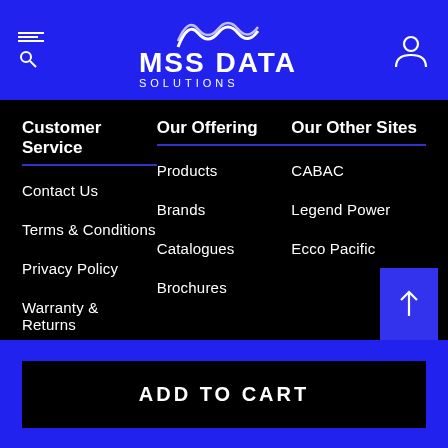MSS DATA SOLUTIONS
Customer Service
Contact Us
Terms & Conditions
Privacy Policy
Warranty & Returns
Our Offering
Products
Brands
Catalogues
Brochures
Our Other Sites
CABAC
Legend Power
Ecco Pacific
ADD TO CART